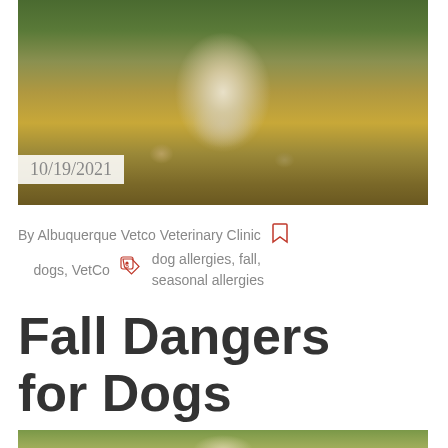[Figure (photo): A golden/white puppy running through fall leaves on grass, smiling, with autumn leaf-covered ground in background]
10/19/2021
By Albuquerque Vetco Veterinary Clinic   dogs, VetCo   dog allergies, fall, seasonal allergies
Fall Dangers for Dogs
[Figure (photo): Partial image of dog in fall leaves, bottom of page]